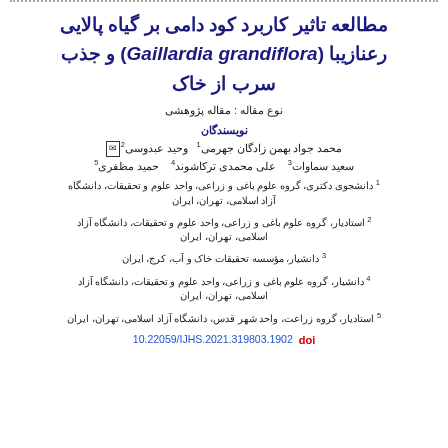مطالعه تاثیر کاربرد کود دامی بر گیاه پالایی رعنازیبا (Gaillardia grandiflora) و جذب سرب از خاک
نوع مقاله : مقاله پژوهشی
نویسندگان
محمد جواد بهمن زادگان جهرمی 1  وحید عبدوسی 2✉  سعید سماوات 3  علی محمدی ترکاشوند 4  حمید مظفری 5
1 دانشجوی دکتری، گروه علوم باغی و زراعی، واحد علوم و تحقیقات، دانشگاه آزاد اسلامی، تهران، ایران
2 استادیار، گروه علوم باغی و زراعی، واحد علوم و تحقیقات، دانشگاه آزاد اسلامی، تهران، ایران
3 دانشیار، مؤسسه تحقیقات خاک و آب، کرج، ایران
4 دانشیار، گروه علوم باغی و زراعی، واحد علوم و تحقیقات، دانشگاه آزاد اسلامی، تهران، ایران
5 استادیار، گروه زراعت، واحد شهر قدس، دانشگاه آزاد اسلامی، تهران، ایران
10.22059/IJHS.2021.319803.1902